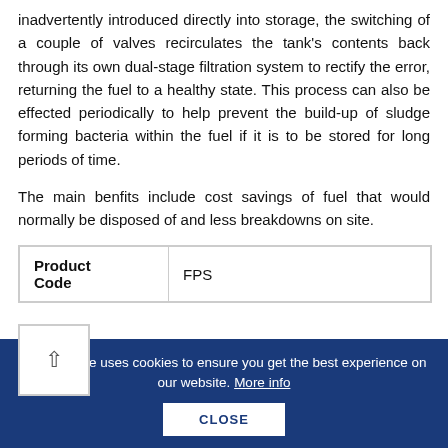inadvertently introduced directly into storage, the switching of a couple of valves recirculates the tank's contents back through its own dual-stage filtration system to rectify the error, returning the fuel to a healthy state. This process can also be effected periodically to help prevent the build-up of sludge forming bacteria within the fuel if it is to be stored for long periods of time.
The main benfits include cost savings of fuel that would normally be disposed of and less breakdowns on site.
| Product Code |  |
| --- | --- |
| Product Code | FPS |
This website uses cookies to ensure you get the best experience on our website. More info